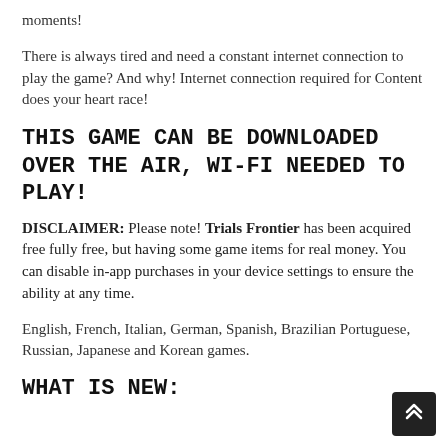moments!
There is always tired and need a constant internet connection to play the game? And why! Internet connection required for Content does your heart race!
THIS GAME CAN BE DOWNLOADED OVER THE AIR, WI-FI NEEDED TO PLAY!
DISCLAIMER: Please note! Trials Frontier has been acquired free fully free, but having some game items for real money. You can disable in-app purchases in your device settings to ensure the ability at any time.
English, French, Italian, German, Spanish, Brazilian Portuguese, Russian, Japanese and Korean games.
WHAT IS NEW: